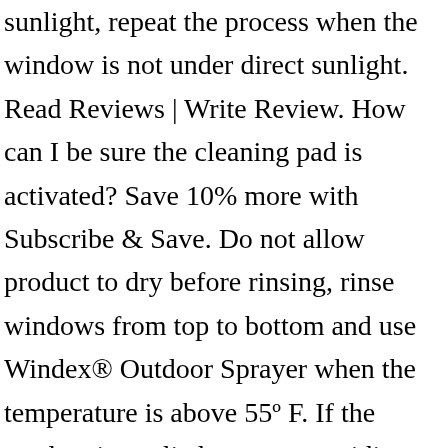sunlight, repeat the process when the window is not under direct sunlight. Read Reviews | Write Review. How can I be sure the cleaning pad is activated? Save 10% more with Subscribe & Save. Do not allow product to dry before rinsing, rinse windows from top to bottom and use Windex® Outdoor Sprayer when the temperature is above 55º F. If the product is applied to eaves or siding above windows, it may drip down on windows. for pricing and availability. Select 2 or more products for side-by-side feature comparison. Compare; Find My Store. Claim your money-back guarantee